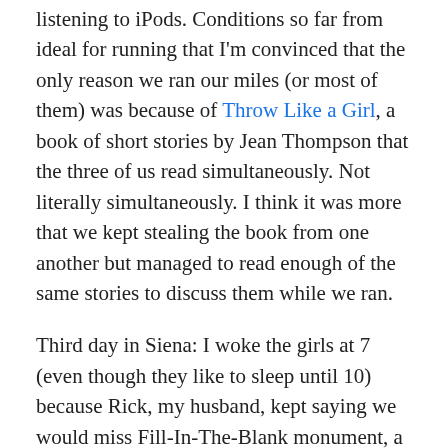listening to iPods. Conditions so far from ideal for running that I'm convinced that the only reason we ran our miles (or most of them) was because of Throw Like a Girl, a book of short stories by Jean Thompson that the three of us read simultaneously. Not literally simultaneously. I think it was more that we kept stealing the book from one another but managed to read enough of the same stories to discuss them while we ran.
Third day in Siena: I woke the girls at 7 (even though they like to sleep until 10) because Rick, my husband, kept saying we would miss Fill-In-The-Blank monument, a recurrent concern of his that had already caused more than one fight between us in Italy. Let me just say, we are not the most compatible travelers. He's a map and plan kind of guy, convinced if we don't get